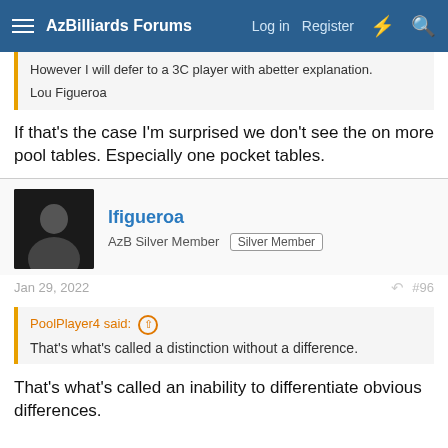AzBilliards Forums | Log in | Register
However I will defer to a 3C player with abetter explanation.

Lou Figueroa
If that's the case I'm surprised we don't see the on more pool tables. Especially one pocket tables.
lfigueroa
AzB Silver Member  Silver Member
Jan 29, 2022  #96
PoolPlayer4 said:  That's what's called a distinction without a difference.
That's what's called an inability to differentiate obvious differences.